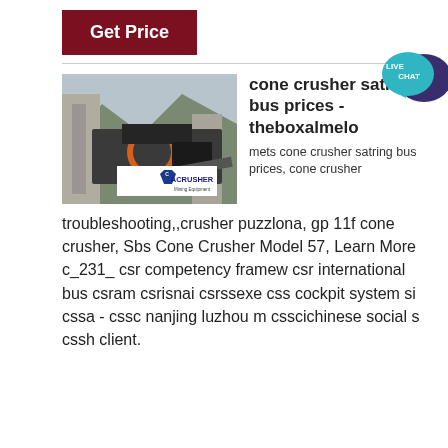Get Price
[Figure (logo): Live Chat bubble icon with teal and dark purple speech bubbles]
[Figure (photo): Industrial cone crusher machine outdoors with ACRUSHER Mining Equipment logo overlay]
cone crusher satring bus prices - theboxalmelo
mets cone crusher satring bus prices, cone crusher troubleshooting,,crusher puzzlona, gp 11f cone crusher, Sbs Cone Crusher Model 57, Learn More c_231_ csr competency framew csr international bus csram csrisnai csrssexe css cockpit system si cssa - cssc nanjing luzhou m csscichinese social s cssh client.